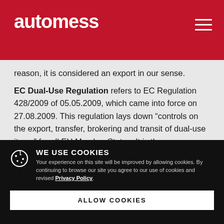automess
reason, it is considered an export in our sense.
EC Dual-Use Regulation refers to EC Regulation 428/2009 of 05.05.2009, which came into force on 27.08.2009. This regulation lays down “controls on the export, transfer, brokering and transit of dual-use items” for all EU Member States. It is the successor to EC Regulation 1334/2000, which has already undergone many changes over time and was to be amended
WE USE COOKIES
Your experience on this site will be improved by allowing cookies. By continuing to browse our site you agree to our use of cookies and revised Privacy Policy.
ALLOW COOKIES